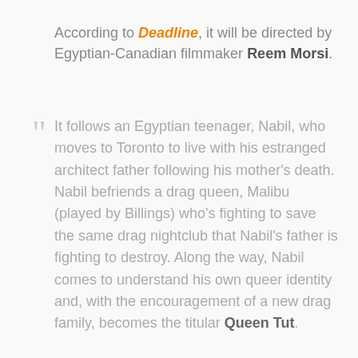According to Deadline, it will be directed by Egyptian-Canadian filmmaker Reem Morsi.
It follows an Egyptian teenager, Nabil, who moves to Toronto to live with his estranged architect father following his mother's death. Nabil befriends a drag queen, Malibu (played by Billings) who's fighting to save the same drag nightclub that Nabil's father is fighting to destroy. Along the way, Nabil comes to understand his own queer identity and, with the encouragement of a new drag family, becomes the titular Queen Tut.